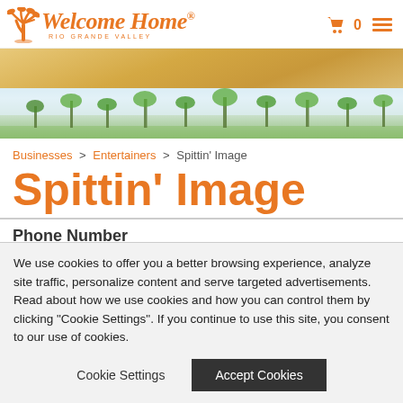[Figure (logo): Welcome Home Rio Grande Valley logo with orange palm tree icon and orange italic script text]
[Figure (photo): Sandy desert/beach gradient banner in tan and gold tones]
[Figure (photo): Photo banner strip showing palm trees against a light sky]
Businesses > Entertainers > Spittin' Image
Spittin' Image
Phone Number
We use cookies to offer you a better browsing experience, analyze site traffic, personalize content and serve targeted advertisements. Read about how we use cookies and how you can control them by clicking "Cookie Settings". If you continue to use this site, you consent to our use of cookies.
Cookie Settings
Accept Cookies